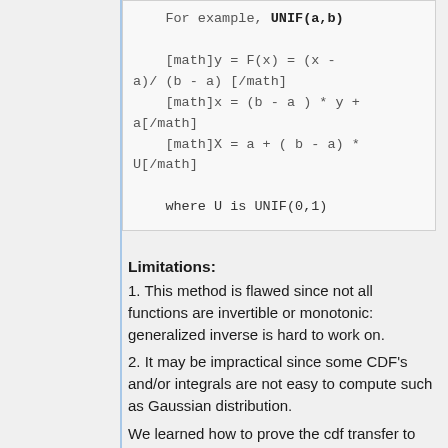For example, UNIF(a,b)

[math]y = F(x) = (x - a)/ (b - a) [/math]
[math]x = (b - a ) * y + a[/math]
[math]X = a + ( b - a) * U[/math]

where U is UNIF(0,1)
Limitations:
1. This method is flawed since not all functions are invertible or monotonic: generalized inverse is hard to work on.
2. It may be impractical since some CDF's and/or integrals are not easy to compute such as Gaussian distribution.
We learned how to prove the cdf transfer to inverse cdf,and use the uniform distribution to obtain a value of x from